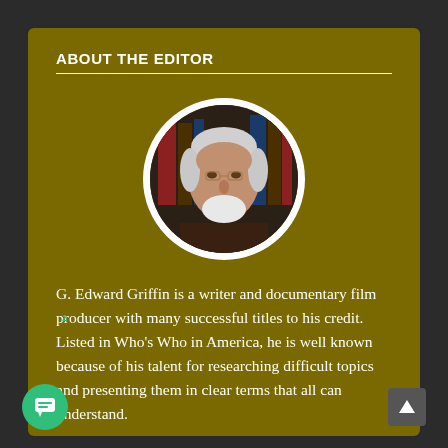ABOUT THE EDITOR
[Figure (photo): Circular portrait photo of G. Edward Griffin, an older man with white hair and beard, wearing a dark jacket, with bookshelves in the background.]
G. Edward Griffin is a writer and documentary film producer with many successful titles to his credit. Listed in Who's Who in America, he is well known because of his talent for researching difficult topics and presenting them in clear terms that all can understand.